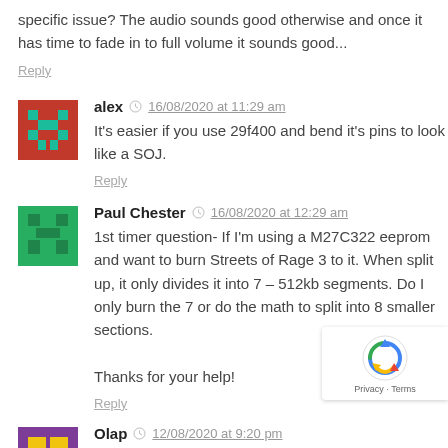specific issue? The audio sounds good otherwise and once it has time to fade in to full volume it sounds good...
Reply
alex  16/08/2020 at 11:29 am
It's easier if you use 29f400 and bend it's pins to look like a SOJ.
Reply
Paul Chester  16/08/2020 at 12:29 am
1st timer question- If I'm using a M27C322 eeprom and want to burn Streets of Rage 3 to it. When split up, it only divides it into 7 – 512kb segments. Do I only burn the 7 or do the math to split into 8 smaller sections.

Thanks for your help!
Reply
Olap  12/08/2020 at 9:20 pm